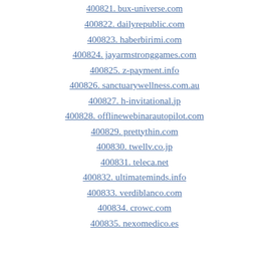400821. bux-universe.com
400822. dailyrepublic.com
400823. haberbirimi.com
400824. jayarmstronggames.com
400825. z-payment.info
400826. sanctuarywellness.com.au
400827. h-invitational.jp
400828. offlinewebinarautopilot.com
400829. prettythin.com
400830. twellv.co.jp
400831. teleca.net
400832. ultimateminds.info
400833. verdiblanco.com
400834. crowc.com
400835. nexomedico.es